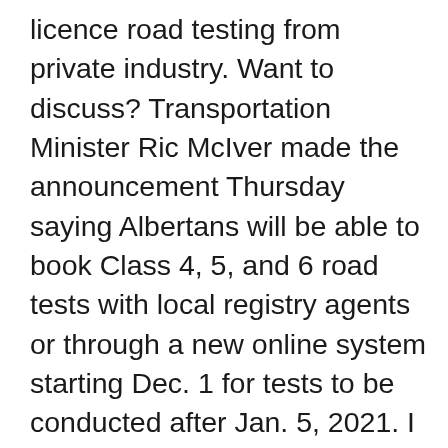licence road testing from private industry. Want to discuss? Transportation Minister Ric McIver made the announcement Thursday saying Albertans will be able to book Class 4, 5, and 6 road tests with local registry agents or through a new online system starting Dec. 1 for tests to be conducted after Jan. 5, 2021. I found a fix to it though, but it's annoying. The information provided in this guide will … If you're looking to take a road test, you'll have to be patient. I'll go over what each means. © 2020 Global News, a division of Corus Entertainment Inc. Albertans can now book a driving test again, Alberta's Minister of Transportation Ric McIver joins Global News Morning Calgary via the phone to discuss how the resumption of road tests is rolling out as COVID-19